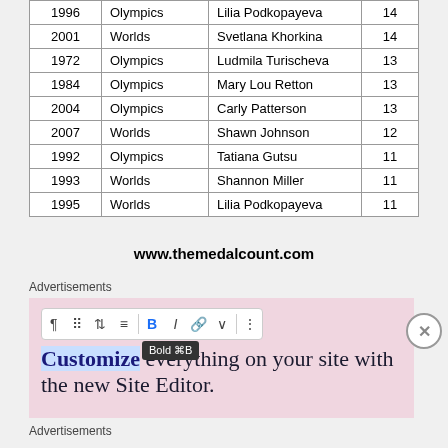| Year | Competition | Athlete | Medals |
| --- | --- | --- | --- |
| 1996 | Olympics | Lilia Podkopayeva | 14 |
| 2001 | Worlds | Svetlana Khorkina | 14 |
| 1972 | Olympics | Ludmila Turischeva | 13 |
| 1984 | Olympics | Mary Lou Retton | 13 |
| 2004 | Olympics | Carly Patterson | 13 |
| 2007 | Worlds | Shawn Johnson | 12 |
| 1992 | Olympics | Tatiana Gutsu | 11 |
| 1993 | Worlds | Shannon Miller | 11 |
| 1995 | Worlds | Lilia Podkopayeva | 11 |
www.themedalcount.com
Advertisements
[Figure (screenshot): Advertisement banner with WordPress site editor promotion showing 'Customize everything on your site with the new Site Editor.' text on pink background with toolbar UI elements.]
Advertisements